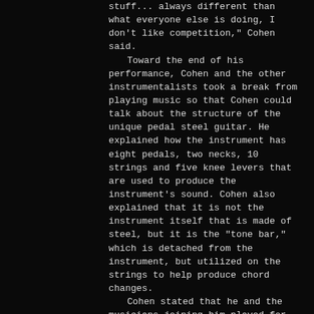stuff... always different than what everyone else is doing, I don't like competition," Cohen said.
	Toward the end of his performance, Cohen and the other instrumentalists took a break from playing music so that Cohen could talk about the structure of the unique pedal steel guitar. He explained how the instrument has eight pedals, two necks, 10 strings and five knee levers that are used to produce the instrument's sound. Cohen also explained that it is not the instrument itself that is made of steel, but it is the "tone bar," which is detached from the instrument, but utilized on the strings to help produce chord changes.
	Cohen stated that he and the musicians joining him played for the first time all together about an hour and a half before the performance.
	"It came out," he stated. "It's a great pleasure to play with these guys... I don't get to play with players of this caliber every day."
	First-year student Damian Bernardini,